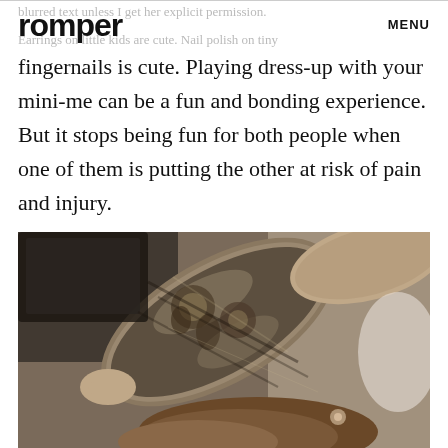romper   MENU
fingernails is cute. Playing dress-up with your mini-me can be a fun and bonding experience. But it stops being fun for both people when one of them is putting the other at risk of pain and injury.
[Figure (photo): Close-up photo of a heavily tattooed arm with intricate black and grey designs, with a child's head visible below it, suggesting the tattooed person is doing something to the child's hair or ears.]